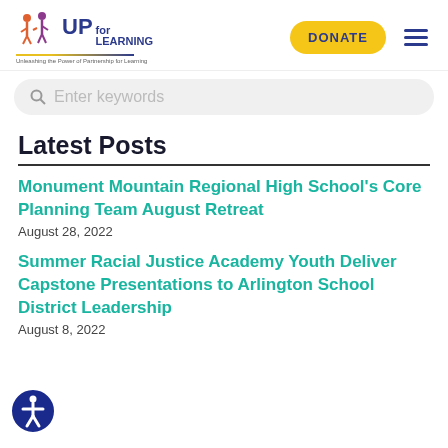[Figure (logo): UP for Learning logo with stylized figures, blue text and tagline 'Unleashing the Power of Partnership for Learning']
DONATE
Enter keywords
Latest Posts
Monument Mountain Regional High School's Core Planning Team August Retreat
August 28, 2022
Summer Racial Justice Academy Youth Deliver Capstone Presentations to Arlington School District Leadership
August 8, 2022